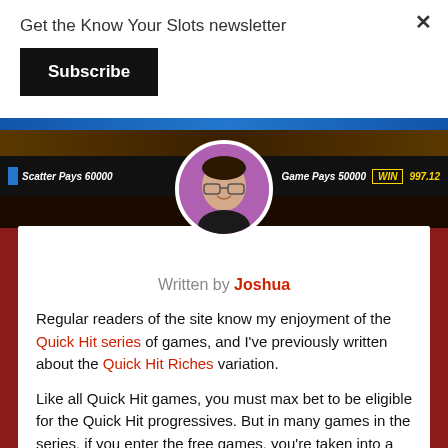Get the Know Your Slots newsletter
Subscribe
[Figure (screenshot): Slot machine game screenshot showing 'Scatter Pays 60000' on the left and 'Game Pays 50000 WIN 997.12' on the right with a blue bar at top, with a circular author photo of Joshua overlaid in the center]
Written by Joshua
Regular readers of the site know my enjoyment of the Quick Hit series of games, and I've previously written about the Quick Hit Riches variation.
Like all Quick Hit games, you must max bet to be eligible for the Quick Hit progressives. But in many games in the series, if you enter the free games, you're taken into a game that has multipliers in the bonus round, and the